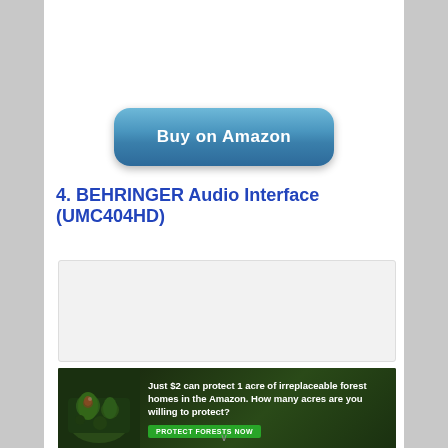[Figure (other): Blue rounded button with text 'Buy on Amazon']
4. BEHRINGER Audio Interface (UMC404HD)
[Figure (other): White/light gray product image placeholder box]
[Figure (other): Amazon Rainforest conservation advertisement banner: 'Just $2 can protect 1 acre of irreplaceable forest homes in the Amazon. How many acres are you willing to protect?' with PROTECT FORESTS NOW button]